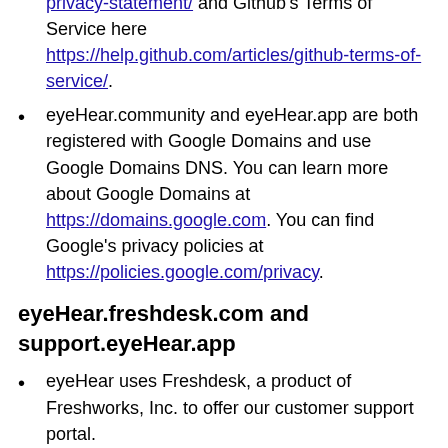privacy-statement/ and Github's Terms of Service here https://help.github.com/articles/github-terms-of-service/.
eyeHear.community and eyeHear.app are both registered with Google Domains and use Google Domains DNS. You can learn more about Google Domains at https://domains.google.com. You can find Google's privacy policies at https://policies.google.com/privacy.
eyeHear.freshdesk.com and support.eyeHear.app
eyeHear uses Freshdesk, a product of Freshworks, Inc. to offer our customer support portal.
You can find Freshdesk's privacy policy at